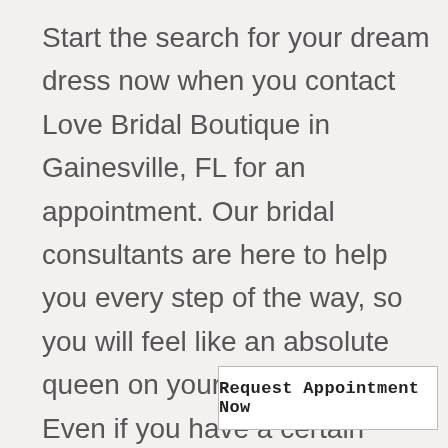Start the search for your dream dress now when you contact Love Bridal Boutique in Gainesville, FL for an appointment. Our bridal consultants are here to help you every step of the way, so you will feel like an absolute queen on your wedding day. Even if you have a certain dress in mind that we don't carry, chances are we can order it for yo
Request Appointment Now